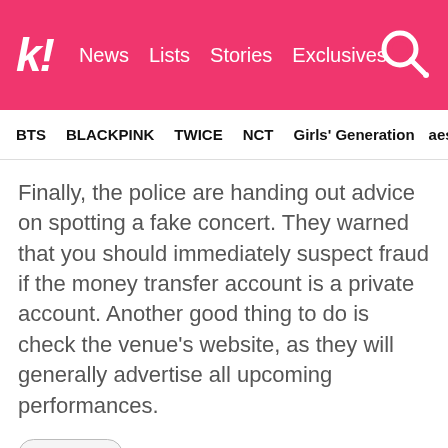k! News Lists Stories Exclusives
BTS BLACKPINK TWICE NCT Girls' Generation aespa
Finally, the police are handing out advice on spotting a fake concert. They warned that you should immediately suspect fraud if the money transfer account is a private account. Another good thing to do is check the venue's website, as they will generally advertise all upcoming performances.
SOURCE
Share This Post